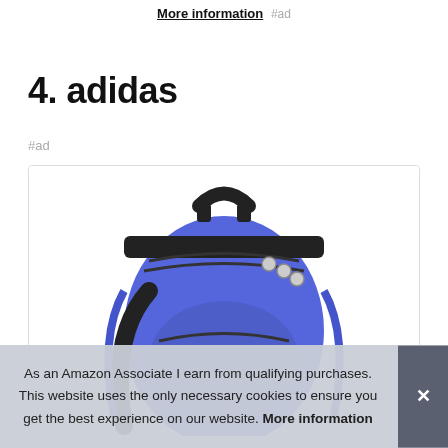More information #ad
4. adidas
#ad
[Figure (photo): Blue adidas backpack product photo showing the top portion with handle, zippers and black straps]
As an Amazon Associate I earn from qualifying purchases. This website uses the only necessary cookies to ensure you get the best experience on our website. More information